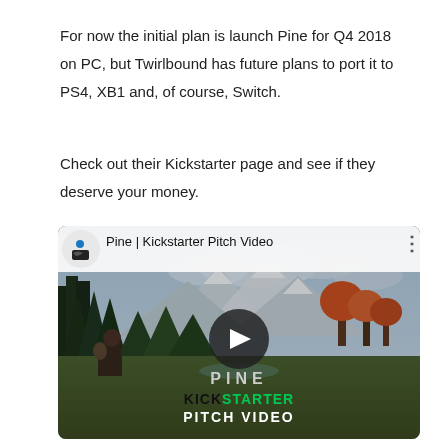For now the initial plan is launch Pine for Q4 2018 on PC, but Twirlbound has future plans to port it to PS4, XB1 and, of course, Switch.
Check out their Kickstarter page and see if they deserve your money.
[Figure (screenshot): YouTube video embed thumbnail for 'Pine | Kickstarter Pitch Video' showing a game scene with mountains, forests, and a character, with a play button overlay and text overlays reading PINE, KICKSTARTER PITCH VIDEO]